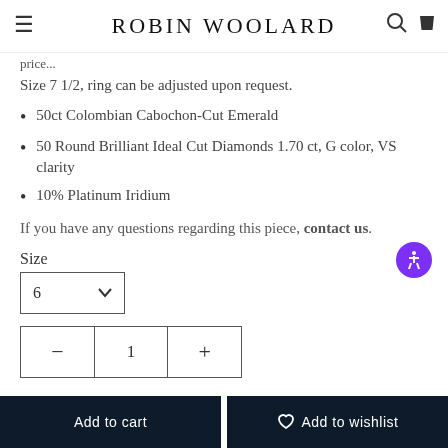ROBIN WOOLARD
Size 7 1/2, ring can be adjusted upon request.
50ct Colombian Cabochon-Cut Emerald
50 Round Brilliant Ideal Cut Diamonds 1.70 ct, G color, VS clarity
10% Platinum Iridium
If you have any questions regarding this piece, contact us.
Size
6
1
Add to cart
Add to wishlist